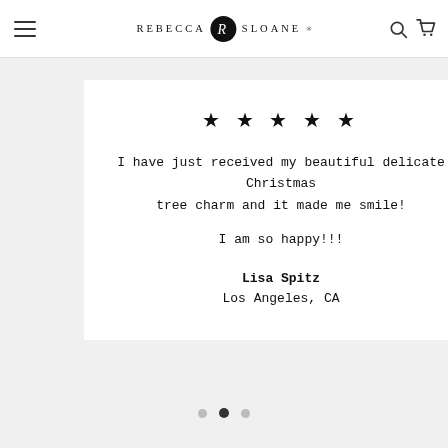REBECCA SLOANE
★★★★★
I have just received my beautiful delicate Christmas tree charm and it made me smile!

I am so happy!!!
Lisa Spitz
Los Angeles, CA